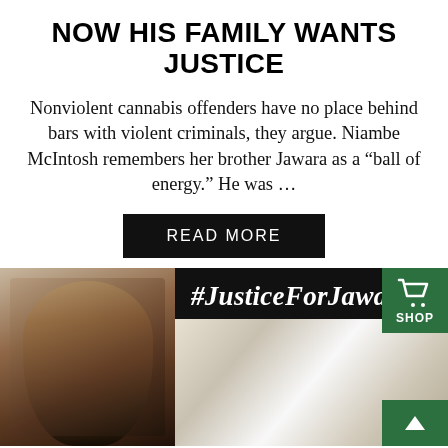NOW HIS FAMILY WANTS JUSTICE
Nonviolent cannabis offenders have no place behind bars with violent criminals, they argue. Niambe McIntosh remembers her brother Jawara as a “ball of energy.” He was …
READ MORE
[Figure (photo): Image strip showing a portrait photo of a young Black man on the left, and on the right a black background with white italic text reading '#JusticeForJawa' (cut off), plus a smaller photo of someone in a hospital bed below the hashtag. A green shop button and up-arrow button overlay the right edge.]